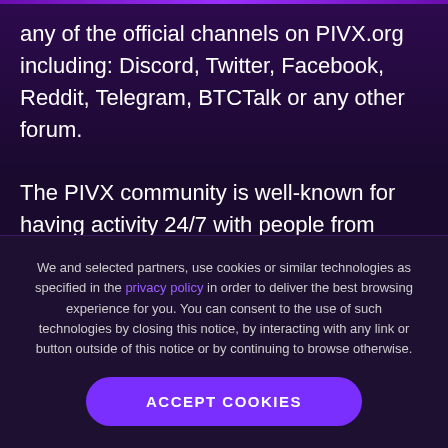any of the official channels on PIVX.org including: Discord, Twitter, Facebook, Reddit, Telegram, BTCTalk or any other forum.
The PIVX community is well-known for having activity 24/7 with people from around the globe, yet no one was alerted despite Decentralized Systems Lab claim they
We and selected partners, use cookies or similar technologies as specified in the privacy policy in order to deliver the best browsing experience for you. You can consent to the use of such technologies by closing this notice, by interacting with any link or button outside of this notice or by continuing to browse otherwise.
ACCEPT COOKIES